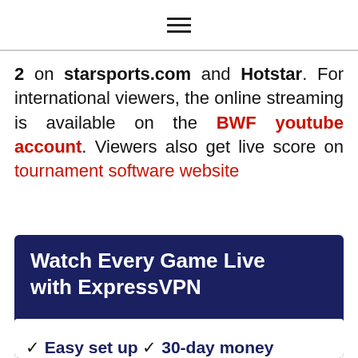≡
2 on starsports.com and Hotstar. For international viewers, the online streaming is available on the BWF youtube account. Viewers also get live score on tournament software website
Watch Every Game Live with ExpressVPN
✓ Easy set up ✓ 30-day money